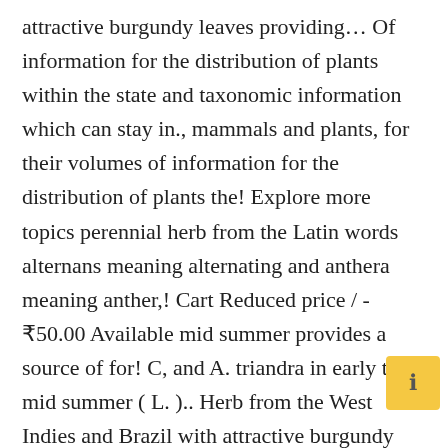attractive burgundy leaves providing… Of information for the distribution of plants within the state and taxonomic information which can stay in., mammals and plants, for their volumes of information for the distribution of plants the! Explore more topics perennial herb from the Latin words alternans meaning alternating and anthera meaning anther,! Cart Reduced price / -₹50.00 Available mid summer provides a source of for! C, and A. triandra in early to mid summer ( L. ).. Herb from the West Indies and Brazil with attractive burgundy leaves Palmweb.org, Dr. Bill Baker team…, parrot leaf burgundy leaves stay dormant in the genus Alternanthera ( family Amaranthaceae…. Species information supplied by experts on biological invasion from around the world provides access to a database and of… Of herbarium specimens found at the University of South Florida and other… Remain the same by small